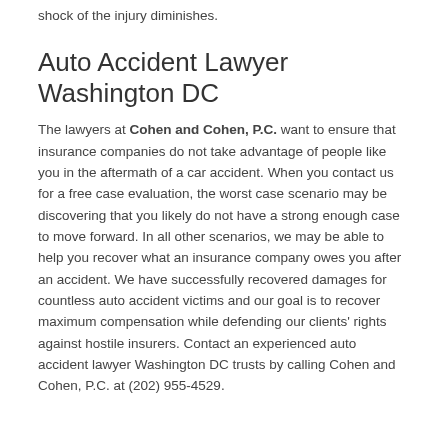shock of the injury diminishes.
Auto Accident Lawyer Washington DC
The lawyers at Cohen and Cohen, P.C. want to ensure that insurance companies do not take advantage of people like you in the aftermath of a car accident. When you contact us for a free case evaluation, the worst case scenario may be discovering that you likely do not have a strong enough case to move forward. In all other scenarios, we may be able to help you recover what an insurance company owes you after an accident. We have successfully recovered damages for countless auto accident victims and our goal is to recover maximum compensation while defending our clients' rights against hostile insurers. Contact an experienced auto accident lawyer Washington DC trusts by calling Cohen and Cohen, P.C. at (202) 955-4529.